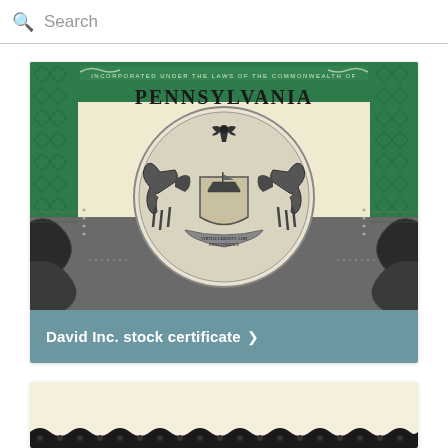Search
[Figure (photo): Pennsylvania stock certificate showing state coat of arms with two horses flanking a shield, eagle on top, ornate green border with diamond patterns. Text reads: INCORPORATED UNDER THE LAWS OF THE COMMONWEALTH OF PENNSYLVANIA]
David Inc. stock certificate >
[Figure (photo): Partial view of another stock certificate showing cream/ivory paper with decorative scalloped black border at bottom edge]